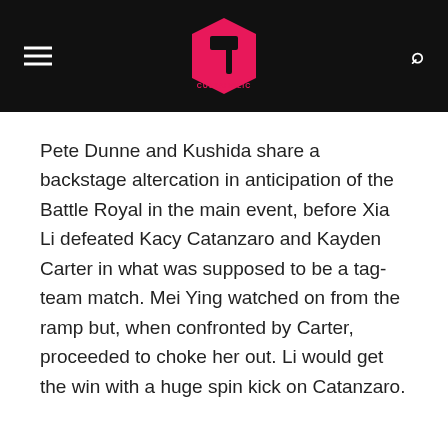Cultaholic
Pete Dunne and Kushida share a backstage altercation in anticipation of the Battle Royal in the main event, before Xia Li defeated Kacy Catanzaro and Kayden Carter in what was supposed to be a tag-team match. Mei Ying watched on from the ramp but, when confronted by Carter, proceeded to choke her out. Li would get the win with a huge spin kick on Catanzaro.